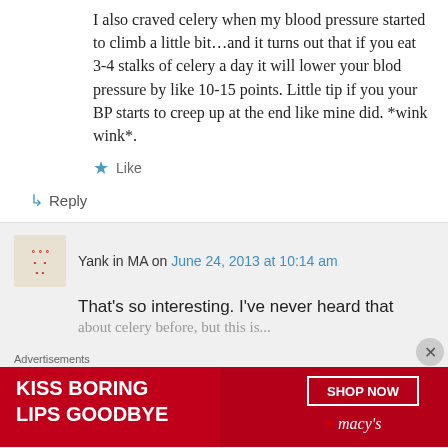I also craved celery when my blood pressure started to climb a little bit…and it turns out that if you eat 3-4 stalks of celery a day it will lower your blod pressure by like 10-15 points. Little tip if you your BP starts to creep up at the end like mine did. *wink wink*.
★ Like
↳ Reply
Yank in MA on June 24, 2013 at 10:14 am
That's so interesting. I've never heard that
Advertisements
[Figure (illustration): Macy's advertisement banner: red background with white text 'KISS BORING LIPS GOODBYE', a SHOP NOW button, and Macy's logo with star]